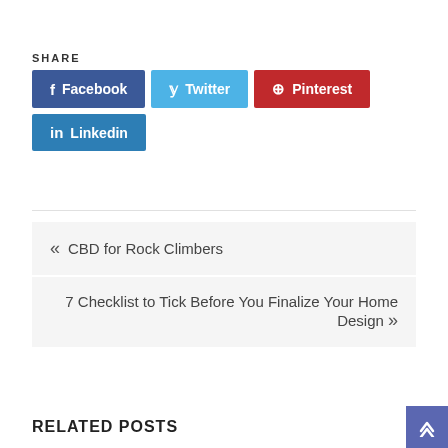SHARE
Facebook
Twitter
Pinterest
Linkedin
« CBD for Rock Climbers
7 Checklist to Tick Before You Finalize Your Home Design »
RELATED POSTS